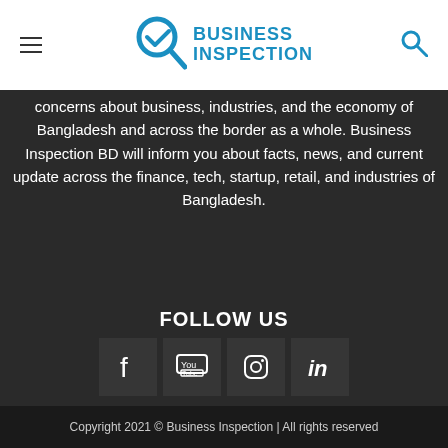Business Inspection (logo)
concerns about business, industries, and the economy of Bangladesh and across the border as a whole. Business Inspection BD will inform you about facts, news, and current update across the finance, tech, startup, retail, and industries of Bangladesh.
FOLLOW US
[Figure (other): Social media icons: Facebook, YouTube, Instagram, LinkedIn]
About   Contact   Career   Our Team   Privacy Policy
Copyright 2021 © Business Inspection | All rights reserved